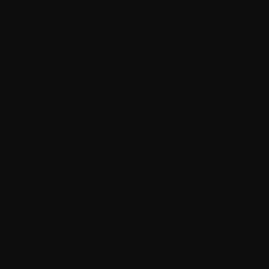The time is 00:23.

Saving done.

Today is the 24th Dusk of the 122nd year of the Age of Ascendancy